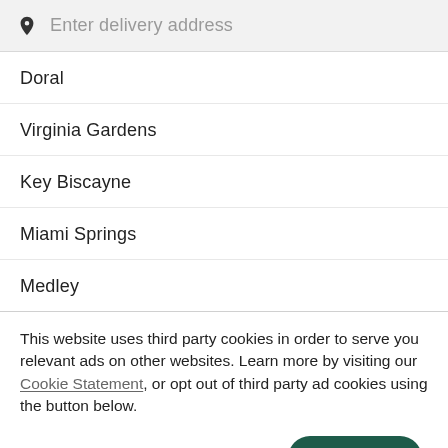[Figure (screenshot): Search input bar with location pin icon and placeholder text 'Enter delivery address' on a light grey background]
Doral
Virginia Gardens
Key Biscayne
Miami Springs
Medley
This website uses third party cookies in order to serve you relevant ads on other websites. Learn more by visiting our Cookie Statement, or opt out of third party ad cookies using the button below.
OPT OUT
GOT IT